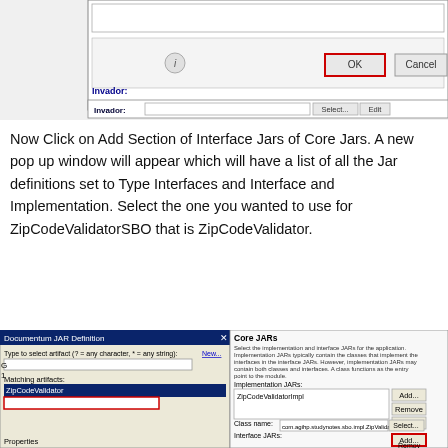[Figure (screenshot): Partial screenshot showing a dialog box with Invader label, OK and Cancel buttons, and a text field with Select and Edit buttons.]
Now Click on Add Section of Interface Jars of Core Jars. A new pop up window will appear which will have a list of all the Jar definitions set to Type Interfaces and Interface and Implementation. Select the one you wanted to use for ZipCodeValidatorSBO that is ZipCodeValidator.
[Figure (screenshot): Screenshot showing two windows: a Documentum JAR Definition dialog with ZipCodeValidator selected in the Matching artifacts list, and a Core JARs panel showing Implementation JARs with ZipCodeValidatorImpl, Class name field, and Interface JARs section with Add button highlighted in red.]